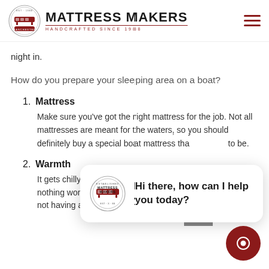MATTRESS MAKERS — HANDCRAFTED SINCE 1988
night in.
How do you prepare your sleeping area on a boat?
1. Mattress — Make sure you've got the right mattress for the job. Not all mattresses are meant for the waters, so you should definitely buy a special boat mattress tha... to be.
2. Warmth — It gets chilly on boat, especially in the evening, and there's nothing worse than waking up because you're too cold, and not having another blanket for emergencies. Always bring